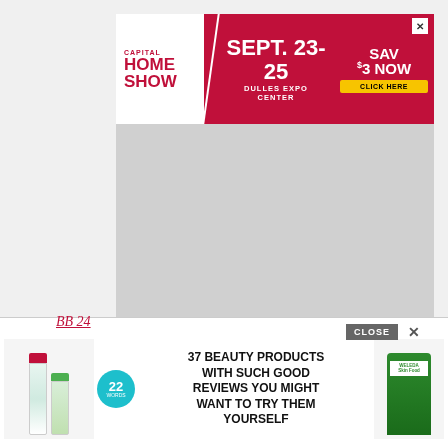[Figure (other): Capital Home Show advertisement banner: SEPT. 23-25 DULLES EXPO CENTER, SAVE $3 NOW CLICK HERE]
[Figure (other): Gray placeholder advertisement rectangle]
COME FOR THE TEA, STAY FOR THE SHADE!
Kempire Spills All The Tea
Early Morning Updates…
Tell Me You Are Former Madam Without Telling Me You Are A For
BB 24
[Figure (other): Overlay advertisement: 37 BEAUTY PRODUCTS WITH SUCH GOOD REVIEWS YOU MIGHT WANT TO TRY THEM YOURSELF, showing skincare product tubes and Weleda tube on right, badge showing 22 words, CLOSE button]